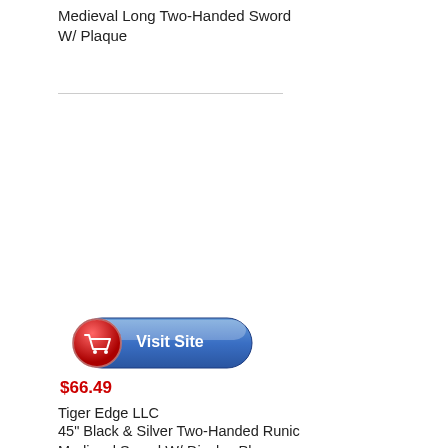Medieval Long Two-Handed Sword W/ Plaque
[Figure (other): Visit Site button with shopping cart icon on a blue pill-shaped background with red circle on the left]
$66.49
Tiger Edge LLC
45" Black & Silver Two-Handed Runic Medieval Sword W/ Display Plaque